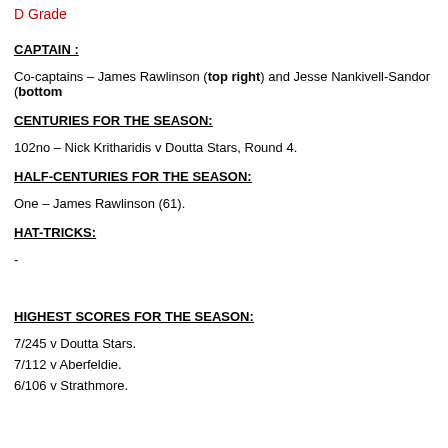D Grade
CAPTAIN :
Co-captains – James Rawlinson (top right) and Jesse Nankivell-Sandor (bottom
CENTURIES FOR THE SEASON:
102no – Nick Kritharidis v Doutta Stars, Round 4.
HALF-CENTURIES FOR THE SEASON:
One – James Rawlinson (61).
HAT-TRICKS:
-
HIGHEST SCORES FOR THE SEASON:
7/245 v Doutta Stars.
7/112 v Aberfeldie.
6/106 v Strathmore.